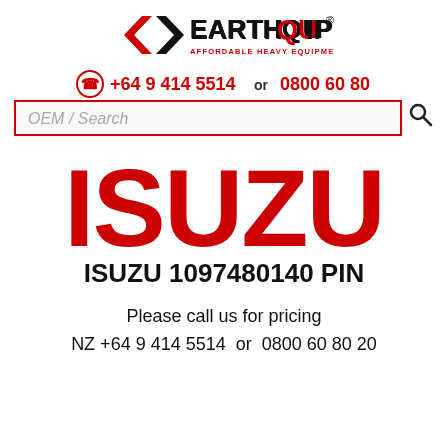[Figure (logo): Earthquip logo with red and black arrow icon and text 'EARTHQUIP® AFFORDABLE HEAVY EQUIPMENT SOLUTIONS']
+64 9 414 5514 or 0800 60 80 20
OEM / Search
[Figure (logo): Large red ISUZU brand text/logo]
ISUZU 1097480140 PIN
Please call us for pricing
NZ +64 9 414 5514  or  0800 60 80 20